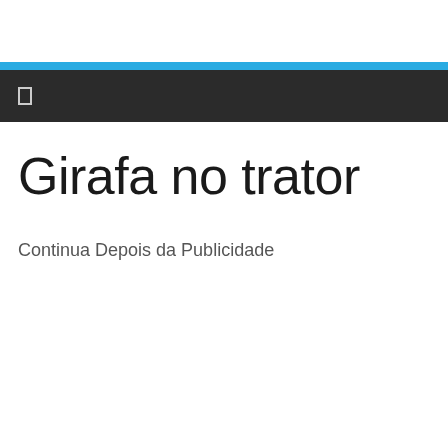Girafa no trator
Continua Depois da Publicidade